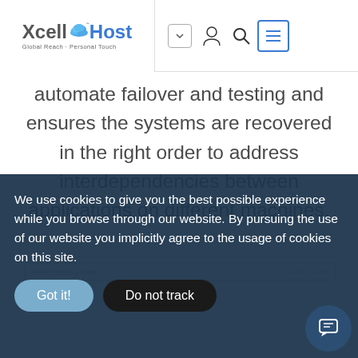XcellHost - Global Reach · Personal Touch
automate failover and testing and ensures the systems are recovered in the right order to address interdependencies between applications on different machines.
[Figure (screenshot): Partial screenshot of a recovery scripts interface with toolbar]
We use cookies to give you the best possible experience while you browse through our website. By pursuing the use of our website you implicitly agree to the usage of cookies on this site.
Got it!
Do not track